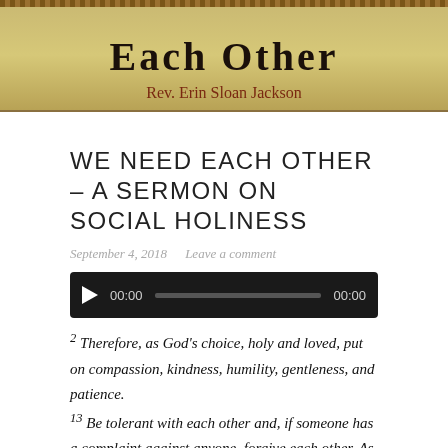[Figure (illustration): Book cover banner showing partial title 'Each Other' in bold serif font and author name 'Rev. Erin Sloan Jackson' on a tan/golden background]
WE NEED EACH OTHER – A SERMON ON SOCIAL HOLINESS
September 4, 2018   Leave a comment
[Figure (other): Audio player widget with play button, time display 00:00, progress bar, and end time 00:00 on dark background]
2 Therefore, as God's choice, holy and loved, put on compassion, kindness, humility, gentleness, and patience. 13 Be tolerant with each other and, if someone has a complaint against anyone, forgive each other. As the Lord forgave you, so also forgive each other. 14 And over all these things put on love, which is the perfect bond of